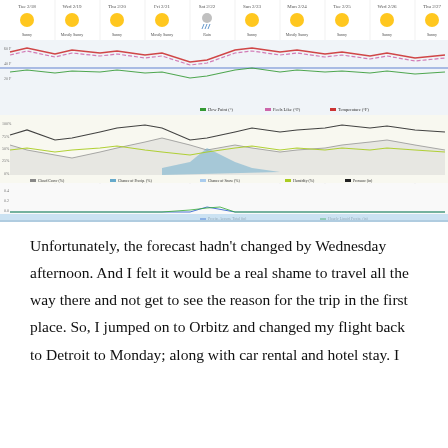[Figure (continuous-plot): 10-day weather forecast screenshot showing daily icons (Sunny, Mostly Sunny, Rain) with temperature ranges, and multiple line charts below: Temperature, Feels Like, Dew Point; Cloud Cover, Chance of Precip, Chance of Snow, Humidity, Pressure; Precip Accumulation Total and Hourly Liquid Precip; and a wind speed line chart. Dates range from Tue 2/18 through Thu 2/27.]
Unfortunately, the forecast hadn't changed by Wednesday afternoon. And I felt it would be a real shame to travel all the way there and not get to see the reason for the trip in the first place. So, I jumped on to Orbitz and changed my flight back to Detroit to Monday; along with car rental and hotel stay. I